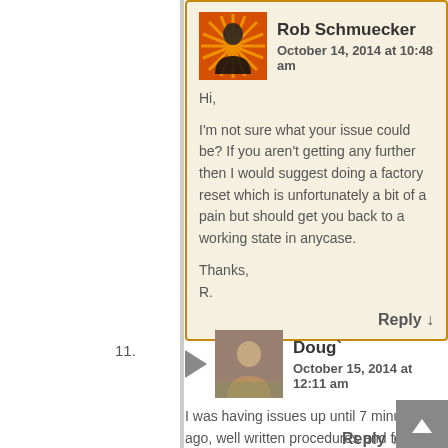Rob Schmuecker
October 14, 2014 at 10:48 am

Hi,

I'm not sure what your issue could be? If you aren't getting any further then I would suggest doing a factory reset which is unfortunately a bit of a pain but should get you back to a working state in anycase.

Thanks,
R.

Reply ↓
11. Doug`
October 15, 2014 at 12:11 am

I was having issues up until 7 minutes ago, well written procedures and follow through. The rebooting system takes awhile.

Reply ↓